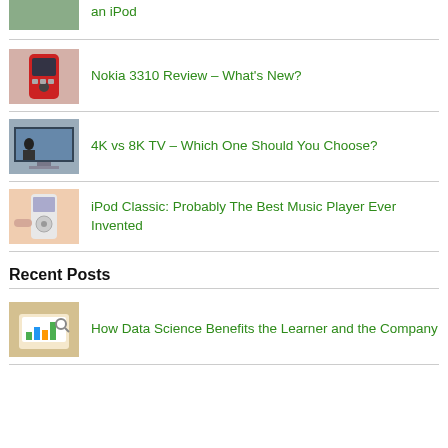[Figure (photo): Partial thumbnail image at top, cropped article about an iPod]
an iPod
Nokia 3310 Review – What's New?
[Figure (photo): Thumbnail of Nokia 3310 phone]
4K vs 8K TV – Which One Should You Choose?
[Figure (photo): Thumbnail of large TV display]
iPod Classic: Probably The Best Music Player Ever Invented
[Figure (photo): Thumbnail of iPod Classic device]
Recent Posts
How Data Science Benefits the Learner and the Company
[Figure (photo): Thumbnail of data science article with charts on tablet]